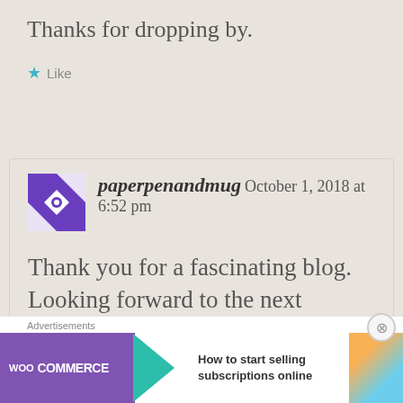Thanks for dropping by.
★ Like
[Figure (illustration): Purple and white geometric quilt-pattern avatar icon]
paperpenandmug October 1, 2018 at 6:52 pm
Thank you for a fascinating blog. Looking forward to the next chapter
[Figure (logo): WooCommerce advertisement banner: 'How to start selling subscriptions online']